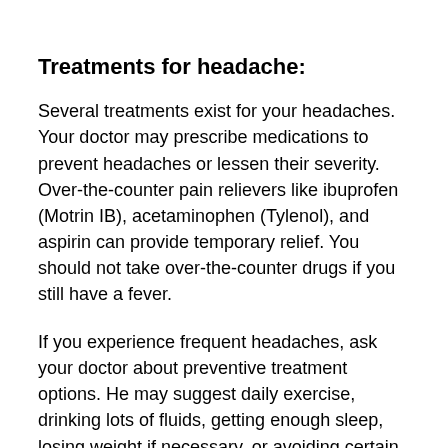Treatments for headache:
Several treatments exist for your headaches. Your doctor may prescribe medications to prevent headaches or lessen their severity. Over-the-counter pain relievers like ibuprofen (Motrin IB), acetaminophen (Tylenol), and aspirin can provide temporary relief. You should not take over-the-counter drugs if you still have a fever.
If you experience frequent headaches, ask your doctor about preventive treatment options. He may suggest daily exercise, drinking lots of fluids, getting enough sleep, losing weight if necessary, or avoiding certain